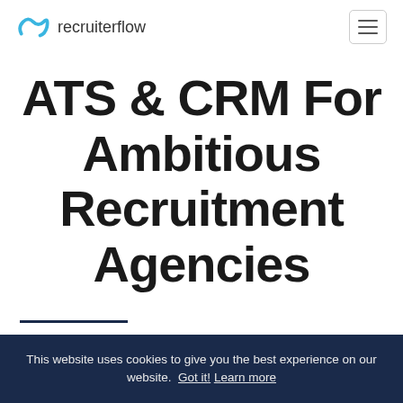recruiterflow
ATS & CRM For Ambitious Recruitment Agencies
Recruiterflow is the complete ecosystem that helps you run and scale your recruiting & staffing.
This website uses cookies to give you the best experience on our website. Got it! Learn more